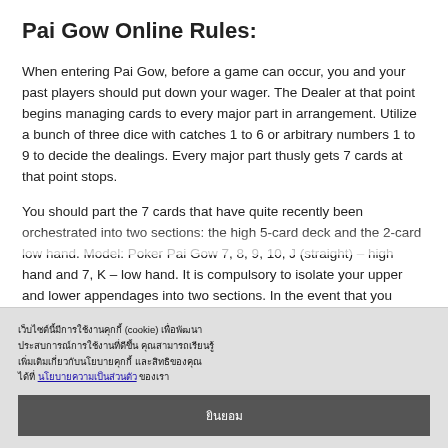Pai Gow Online Rules:
When entering Pai Gow, before a game can occur, you and your past players should put down your wager. The Dealer at that point begins managing cards to every major part in arrangement. Utilize a bunch of three dice with catches 1 to 6 or arbitrary numbers 1 to 9 to decide the dealings. Every major part thusly gets 7 cards at that point stops.
You should part the 7 cards that have quite recently been orchestrated into two sections: the high 5-card deck and the 2-card low hand. Model: Poker Pai Gow 7, 8, 9, 10, J (straight) – high hand and 7, K – low hand. It is compulsory to isolate your upper and lower appendages into two sections. In the event that you commit an error, your bet will be relinquished promptly in light…
เว็บไซต์นี้มีการใช้งานคุกกี้ (cookie) เพื่อพัฒนา
ประสบการณ์การใช้งานที่ดีขึ้น คุณสามารถเรียนรู้
เพิ่มเติมเกี่ยวกับนโยบายคุกกี้ และสิทธิของคุณ
ได้ที่ นโยบายความเป็นส่วนตัว ของเรา
ยินยอม